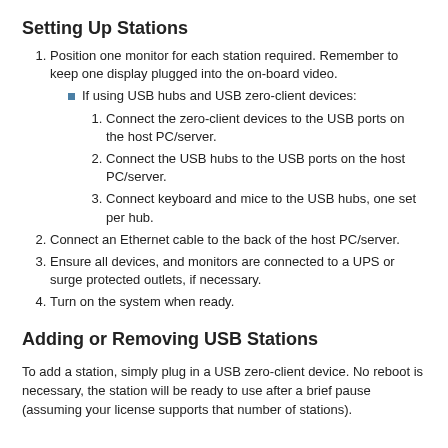Setting Up Stations
Position one monitor for each station required. Remember to keep one display plugged into the on-board video.
If using USB hubs and USB zero-client devices:
Connect the zero-client devices to the USB ports on the host PC/server.
Connect the USB hubs to the USB ports on the host PC/server.
Connect keyboard and mice to the USB hubs, one set per hub.
Connect an Ethernet cable to the back of the host PC/server.
Ensure all devices, and monitors are connected to a UPS or surge protected outlets, if necessary.
Turn on the system when ready.
Adding or Removing USB Stations
To add a station, simply plug in a USB zero-client device. No reboot is necessary, the station will be ready to use after a brief pause (assuming your license supports that number of stations).